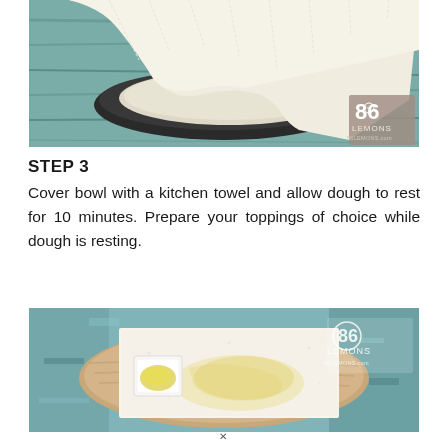[Figure (photo): Photo of dough covered with a white kitchen towel on a dark plate on a teal wooden surface, with 86 Lemons watermark logo in bottom right corner]
STEP 3
Cover bowl with a kitchen towel and allow dough to rest for 10 minutes. Prepare your toppings of choice while dough is resting.
[Figure (photo): Photo of dough on parchment paper with olive oil being brushed on it, small white square dish with olive oil beside it, on a wooden board over a teal distressed wooden surface, with 86 Lemons watermark logo]